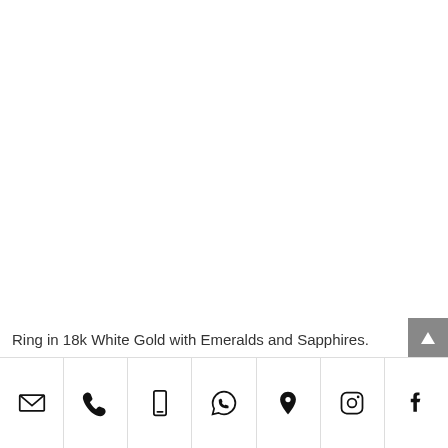Ring in 18k White Gold with Emeralds and Sapphires.
[Figure (infographic): Footer bar with 7 contact/social icons: email (envelope), phone (handset), mobile (smartphone), WhatsApp (speech bubble with phone), location pin, Instagram, Facebook]